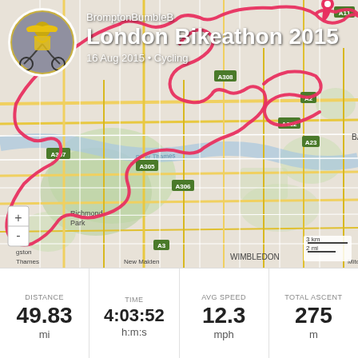[Figure (map): Garmin activity map showing cycling route in London, UK. Pink/red route line overlaid on street map covering areas including Battersea, Richmond Park, Westminster, Brixton, Wimbledon. Route traced through south and central London.]
BromptonBumbleB
London Bikeathon 2015
16 Aug 2015 • Cycling
| DISTANCE | TIME | AVG SPEED | TOTAL ASCENT |
| --- | --- | --- | --- |
| 49.83 | 4:03:52 | 12.3 | 275 |
| mi | h:m:s | mph | m |
GARMIN    Captured with a Garmin Garmin Edge 80